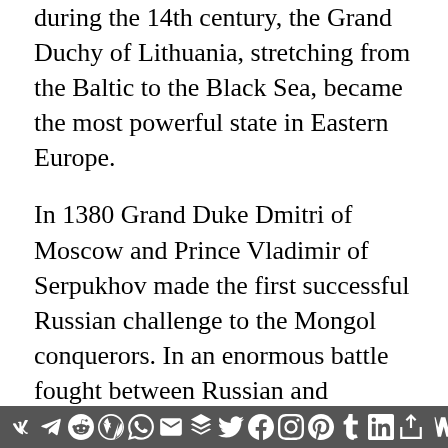during the 14th century, the Grand Duchy of Lithuania, stretching from the Baltic to the Black Sea, became the most powerful state in Eastern Europe.
In 1380 Grand Duke Dmitri of Moscow and Prince Vladimir of Serpukhov made the first successful Russian challenge to the Mongol conquerors. In an enormous battle fought between Russian and Mongol forces on September 8 on the upper Don, near the site of the present village of Kulikovo, the Russians won a decisive, though costly victory. This victory did not throw off the Mongol yoke, but it loosened it and helped make it possible for Iva…
[social share icons: VK, Telegram, Reddit, WordPress, WhatsApp, Email, Buffer, Twitter, Facebook, Instagram, Pinterest, Tumblr, LinkedIn, Share, Weibo, Share]